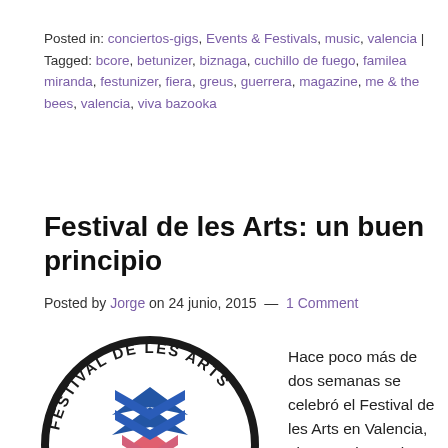Posted in: conciertos-gigs, Events & Festivals, music, valencia | Tagged: bcore, betunizer, biznaga, cuchillo de fuego, familea miranda, festunizer, fiera, greus, guerrera, magazine, me & the bees, valencia, viva bazooka
Festival de les Arts: un buen principio
Posted by Jorge on 24 junio, 2015 — 1 Comment
[Figure (logo): Festival de les Arts circular logo with a chevron/arrow emblem in blue, white, and red/pink colors]
Hace poco más de dos semanas se celebró el Festival de les Arts en Valencia, al que tuvimos el